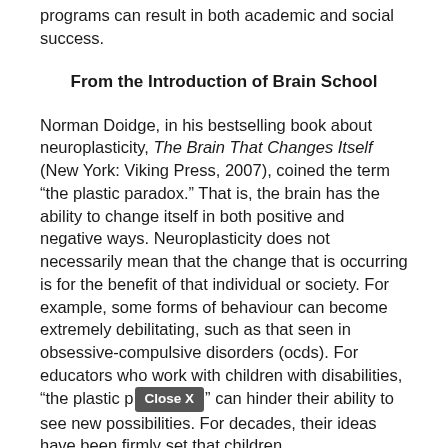programs can result in both academic and social success.
From the Introduction of Brain School
Norman Doidge, in his bestselling book about neuroplasticity, The Brain That Changes Itself (New York: Viking Press, 2007), coined the term “the plastic paradox.” That is, the brain has the ability to change itself in both positive and negative ways. Neuroplasticity does not necessarily mean that the change that is occurring is for the benefit of that individual or society. For example, some forms of behaviour can become extremely debilitating, such as that seen in obsessive-compulsive disorders (ocds). For educators who work with children with disabilities, “the plastic p[Close X]” can hinder their ability to see new possibilities. For decades, their ideas have been firmly set that children